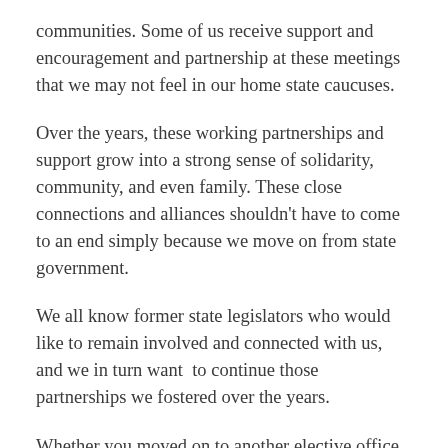communities. Some of us receive support and encouragement and partnership at these meetings that we may not feel in our home state caucuses.
Over the years, these working partnerships and support grow into a strong sense of solidarity, community, and even family. These close connections and alliances shouldn't have to come to an end simply because we move on from state government.
We all know former state legislators who would like to remain involved and connected with us, and we in turn want to continue those partnerships we fostered over the years.
Whether you moved on to another elective office, were term-limited, or simply chose to practice the Jeffersonian example of a citizen legislator who returned to private